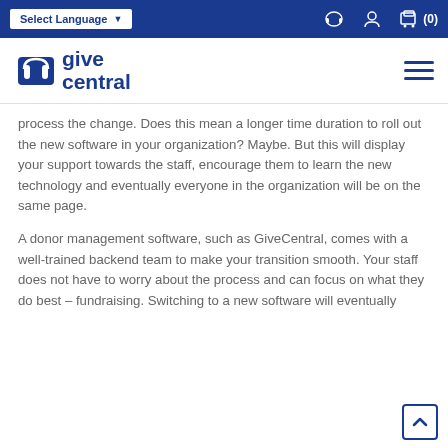Select Language | GiveCentral navigation bar
[Figure (logo): GiveCentral logo with stylized 'm' icon and blue text reading 'give central']
process the change. Does this mean a longer time duration to roll out the new software in your organization? Maybe. But this will display your support towards the staff, encourage them to learn the new technology and eventually everyone in the organization will be on the same page.
A donor management software, such as GiveCentral, comes with a well-trained backend team to make your transition smooth. Your staff does not have to worry about the process and can focus on what they do best – fundraising. Switching to a new software will eventually...